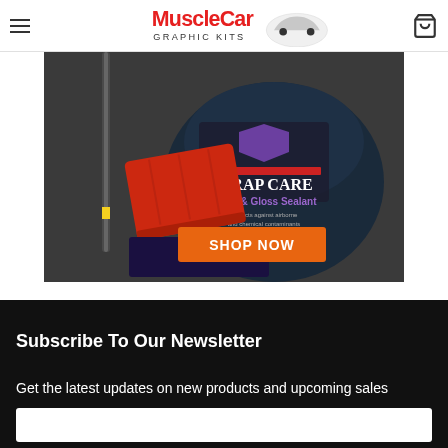MuscleCar Graphic Kits
[Figure (photo): Product banner for Wrap Care Matte & Gloss Sealant with a red squeegee applicator, applicator tool, and product container. Text overlay: 'WRAP CARE Matte & Gloss Sealant, Protects against airborne and chemical contaminants' with an orange SHOP NOW button.]
Subscribe To Our Newsletter
Get the latest updates on new products and upcoming sales